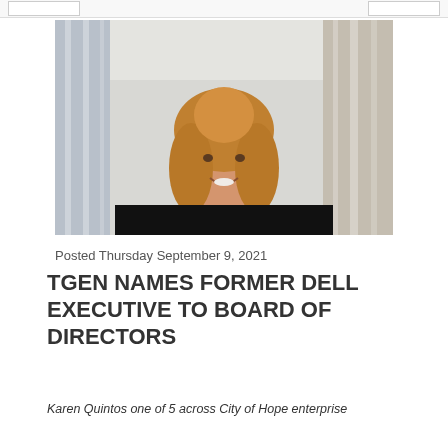[Figure (photo): Professional headshot of a woman with blonde hair wearing a black turtleneck, smiling, with blurred office windows in the background]
Posted Thursday September 9, 2021
TGEN NAMES FORMER DELL EXECUTIVE TO BOARD OF DIRECTORS
Karen Quintos one of 5 across City of Hope enterprise